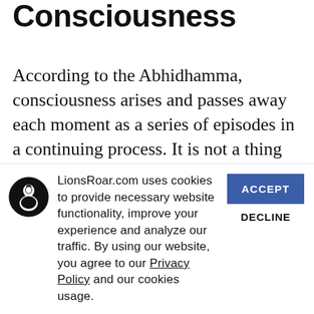Consciousness
According to the Abhidhamma, consciousness arises and passes away each moment as a series of episodes in a continuing process. It is not a thing that exists, but an event that occurs—again and again—to yield the subjective experience of a stream of consciousness. Consciousness itself is
LionsRoar.com uses cookies to provide necessary website functionality, improve your experience and analyze our traffic. By using our website, you agree to our Privacy Policy and our cookies usage.